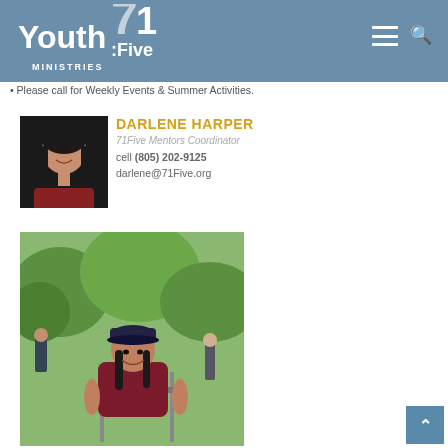Youth 71Five Ministries
Please call for Weekly Events & Summer Activities.
DARLENE HARPER
71Five Mentors Coordinator
cell (805) 202-9125
darlene@71Five.org
[Figure (photo): Portrait photo of Darlene Harper, a woman with long dark hair, smiling, wearing a red plaid top against a dark background]
[Figure (photo): Outdoor photo of a woman wearing a baseball cap and dark maroon top, sitting in a chair and smiling, with green trees and other people in the background]